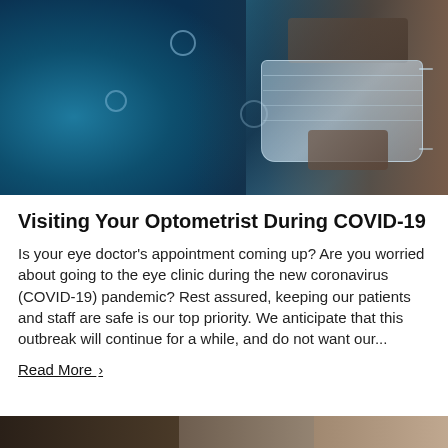[Figure (photo): Woman wearing a surgical face mask with coronavirus (COVID-19) virus particles floating in the air on a blue background]
Visiting Your Optometrist During COVID-19
Is your eye doctor's appointment coming up? Are you worried about going to the eye clinic during the new coronavirus (COVID-19) pandemic? Rest assured, keeping our patients and staff are safe is our top priority. We anticipate that this outbreak will continue for a while, and do not want our...
Read More ▶